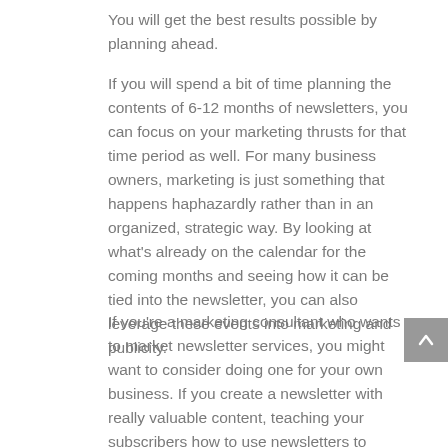You will get the best results possible by planning ahead.
If you will spend a bit of time planning the contents of 6-12 months of newsletters, you can focus on your marketing thrusts for that time period as well. For many business owners, marketing is just something that happens haphazardly rather than in an organized, strategic way. By looking at what’s already on the calendar for the coming months and seeing how it can be tied into the newsletter, you can also leverage these events into marketing and publicity.
If you’re a marketing consultant who wants to market newsletter services, you might want to consider doing one for your own business. If you create a newsletter with really valuable content, teaching your subscribers how to use newsletters to grow their business, you will quickly gain expert status and find they want to hire you to publish for them,